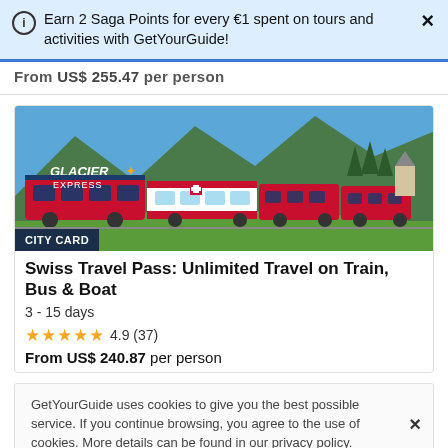Earn 2 Saga Points for every €1 spent on tours and activities with GetYourGuide!
From US$ 255.47 per person
[Figure (photo): Glacier Express red train travelling through green alpine landscape with mountains and blue sky in background. CITY CARD badge in lower left corner.]
Swiss Travel Pass: Unlimited Travel on Train, Bus & Boat
3 - 15 days
★★★★★ 4.9 (37)
From US$ 240.87 per person
GetYourGuide uses cookies to give you the best possible service. If you continue browsing, you agree to the use of cookies. More details can be found in our privacy policy.